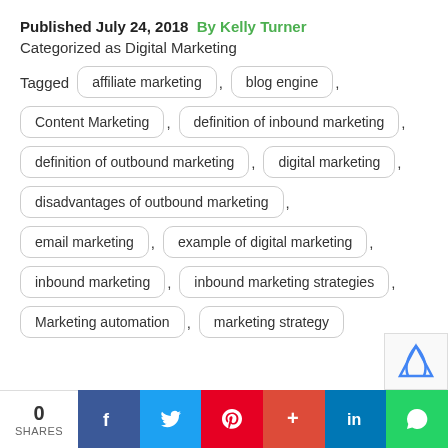Published July 24, 2018  By Kelly Turner
Categorized as Digital Marketing
Tagged  affiliate marketing ,  blog engine ,  Content Marketing ,  definition of inbound marketing ,  definition of outbound marketing ,  digital marketing ,  disadvantages of outbound marketing ,  email marketing ,  example of digital marketing ,  inbound marketing ,  inbound marketing strategies ,  Marketing automation ,  marketing strategy
0 SHARES